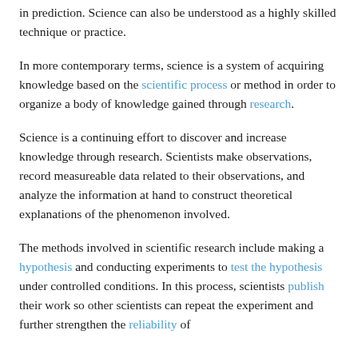in prediction. Science can also be understood as a highly skilled technique or practice.
In more contemporary terms, science is a system of acquiring knowledge based on the scientific process or method in order to organize a body of knowledge gained through research.
Science is a continuing effort to discover and increase knowledge through research. Scientists make observations, record measureable data related to their observations, and analyze the information at hand to construct theoretical explanations of the phenomenon involved.
The methods involved in scientific research include making a hypothesis and conducting experiments to test the hypothesis under controlled conditions. In this process, scientists publish their work so other scientists can repeat the experiment and further strengthen the reliability of